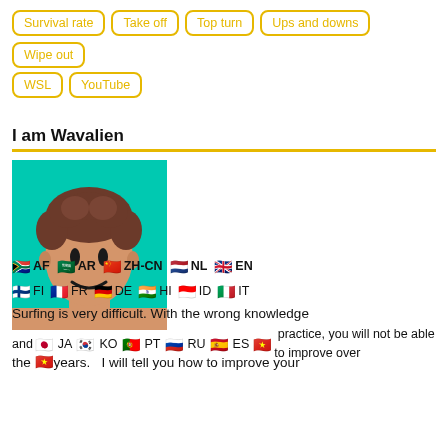Survival rate
Take off
Top turn
Ups and downs
Wipe out
WSL
YouTube
I am Wavalien
[Figure (illustration): Cartoon avatar of a person with curly brown hair on a teal background, with a simple smiley face.]
AF AR ZH-CN NL EN FI FR DE HI ID IT JA KO PT RU ES VI (flag icons for each language)
Surfing is very difficult. With the wrong knowledge and practice, you will not be able to improve over the years.   I will tell you how to improve your